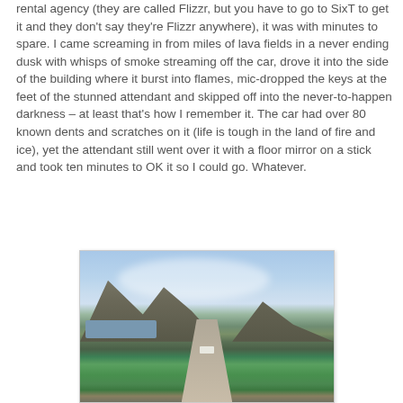rental agency (they are called Flizzr, but you have to go to SixT to get it and they don't say they're Flizzr anywhere), it was with minutes to spare. I came screaming in from miles of lava fields in a never ending dusk with whisps of smoke streaming off the car, drove it into the side of the building where it burst into flames, mic-dropped the keys at the feet of the stunned attendant and skipped off into the never-to-happen darkness – at least that's how I remember it. The car had over 80 known dents and scratches on it (life is tough in the land of fire and ice), yet the attendant still went over it with a floor mirror on a stick and took ten minutes to OK it so I could go. Whatever.
[Figure (photo): A scenic road in Iceland with a straight highway leading toward mountains, green fields on either side, a body of water on the left, and a cloudy sky above.]